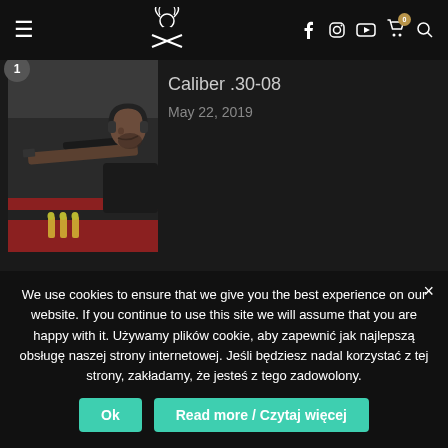Navigation bar with hamburger menu, logo, social icons (Facebook, Instagram, YouTube), cart with badge 0, and search icon
[Figure (photo): Man with headphones aiming a rifle with a scope at a shooting range, ammunition visible in foreground. Number badge '1' in top-left corner.]
Caliber .30-08
May 22, 2019
PLN
[Figure (photo): Partial image of article 2 with green background. Number badge '2' in top-left corner.]
(Not) tasty meat
We use cookies to ensure that we give you the best experience on our website. If you continue to use this site we will assume that you are happy with it. Używamy plików cookie, aby zapewnić jak najlepszą obsługę naszej strony internetowej. Jeśli będziesz nadal korzystać z tej strony, zakładamy, że jesteś z tego zadowolony.
Ok
Read more / Czytaj więcej